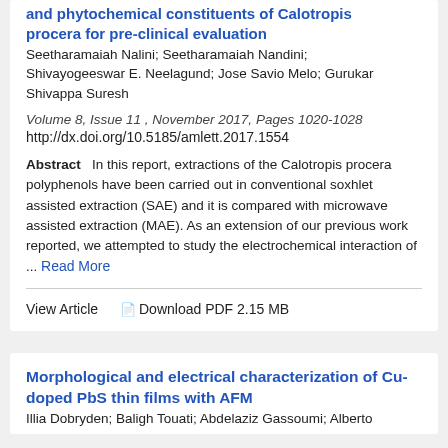and phytochemical constituents of Calotropis procera for pre-clinical evaluation
Seetharamaiah Nalini; Seetharamaiah Nandini; Shivayogeeswar E. Neelagund; Jose Savio Melo; Gurukar Shivappa Suresh
Volume 8, Issue 11 , November 2017, Pages 1020-1028
http://dx.doi.org/10.5185/amlett.2017.1554
Abstract   In this report, extractions of the Calotropis procera polyphenols have been carried out in conventional soxhlet assisted extraction (SAE) and it is compared with microwave assisted extraction (MAE). As an extension of our previous work reported, we attempted to study the electrochemical interaction of ... Read More
View Article   Download PDF 2.15 MB
Morphological and electrical characterization of Cu-doped PbS thin films with AFM
Illia Dobryden; Baligh Touati; Abdelaziz Gassoumi; Alberto